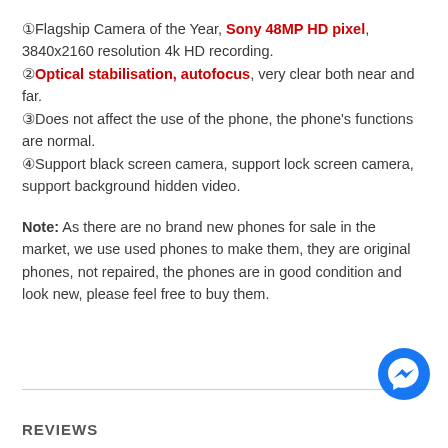①Flagship Camera of the Year, Sony 48MP HD pixel, 3840x2160 resolution 4k HD recording.
②Optical stabilisation, autofocus, very clear both near and far.
③Does not affect the use of the phone, the phone's functions are normal.
④Support black screen camera, support lock screen camera, support background hidden video.
Note: As there are no brand new phones for sale in the market, we use used phones to make them, they are original phones, not repaired, the phones are in good condition and look new, please feel free to buy them.
REVIEWS